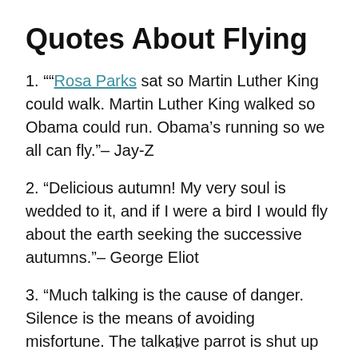Quotes About Flying
1. ""Rosa Parks sat so Martin Luther King could walk. Martin Luther King walked so Obama could run. Obama’s running so we all can fly."– Jay-Z
2. “Delicious autumn! My very soul is wedded to it, and if I were a bird I would fly about the earth seeking the successive autumns.”– George Eliot
3. “Much talking is the cause of danger. Silence is the means of avoiding misfortune. The talkative parrot is shut up in a cage. Other birds, without speech, fly freely about.”– Saskya Pandita